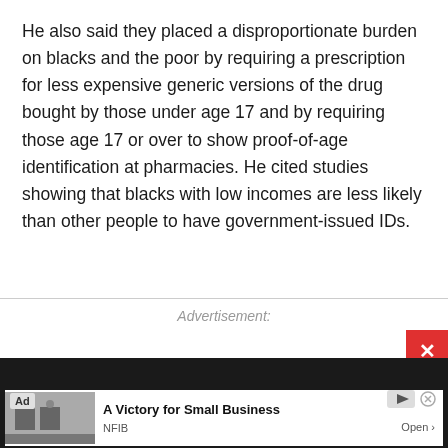He also said they placed a disproportionate burden on blacks and the poor by requiring a prescription for less expensive generic versions of the drug bought by those under age 17 and by requiring those age 17 or over to show proof-of-age identification at pharmacies. He cited studies showing that blacks with low incomes are less likely than other people to have government-issued IDs.
Advertisement:
[Figure (other): Advertisement banner at bottom of page showing an ad for NFIB with title 'A Victory for Small Business' and an Open button, with a dark background and close button.]